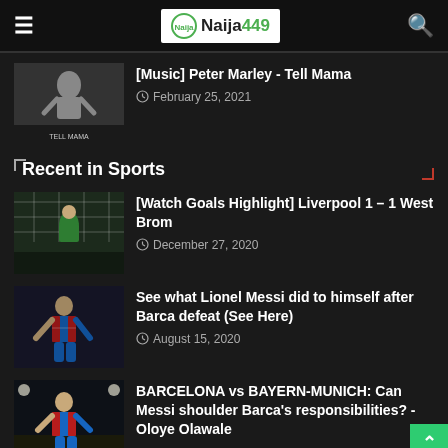Naija449 - hamburger menu and search
[Figure (photo): Black and white photo of a person with text 'TELL MAMA' at bottom]
[Music] Peter Marley - Tell Mama
February 25, 2021
Recent in Sports
[Figure (photo): Soccer/football goal highlight photo showing goalkeeper]
[Watch Goals Highlight] Liverpool 1 – 1 West Brom
December 27, 2020
[Figure (photo): Lionel Messi in Barcelona blue and red jersey]
See what Lionel Messi did to himself after Barca defeat (See Here)
August 15, 2020
[Figure (photo): Lionel Messi in Barcelona jersey at night game]
BARCELONA vs BAYERN-MUNICH: Can Messi shoulder Barca's responsibilities? - Oloye Olawale